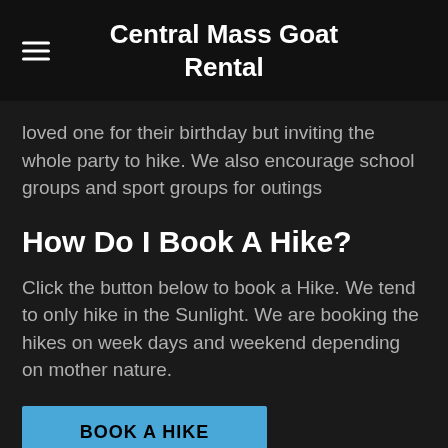Central Mass Goat Rental
loved one for their birthday but inviting the whole party to hike. We also encourage school groups and sport groups for outings
How Do I Book A Hike?
Click the button below to book a Hike. We tend to only hike in the Sunlight. We are booking the hikes on week days and weekend depending on mother nature.
BOOK A HIKE